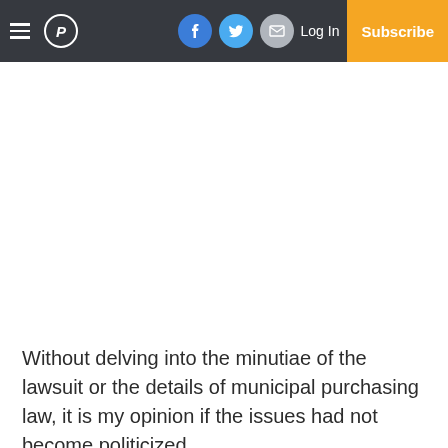Navigation bar with hamburger menu, P logo, Facebook, Twitter, Email social buttons, Log In, and Subscribe button
Without delving into the minutiae of the lawsuit or the details of municipal purchasing law, it is my opinion if the issues had not become politicized,